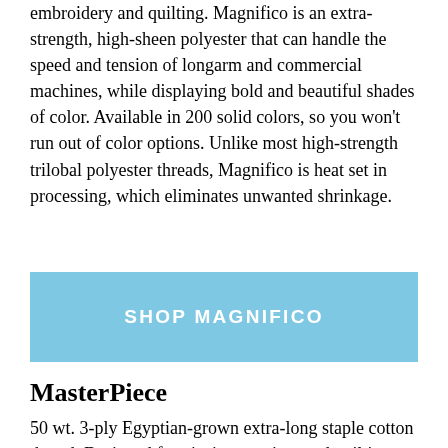embroidery and quilting. Magnifico is an extra-strength, high-sheen polyester that can handle the speed and tension of longarm and commercial machines, while displaying bold and beautiful shades of color. Available in 200 solid colors, so you won't run out of color options. Unlike most high-strength trilobal polyester threads, Magnifico is heat set in processing, which eliminates unwanted shrinkage.
SHOP MAGNIFICO
MasterPiece
50 wt. 3-ply Egyptian-grown extra-long staple cotton thread. Designed for piecing, sewing, and quilting. MasterPiece is a strong, low-lint cotton thread that